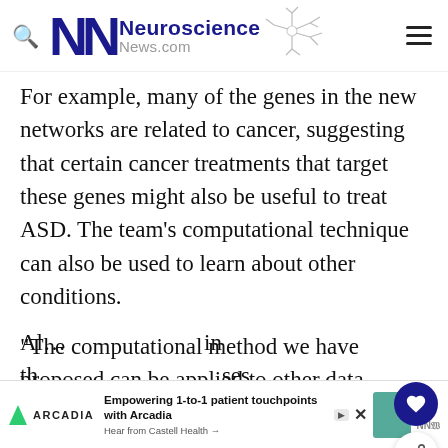Neuroscience News.com
For example, many of the genes in the new networks are related to cancer, suggesting that certain cancer treatments that target these genes might also be useful to treat ASD. The team’s computational technique can also be used to learn about other conditions.
“The computational method we have proposed can be applied to other data-sets to predict new genes involved in other conditions,” says
Al... in th... ses